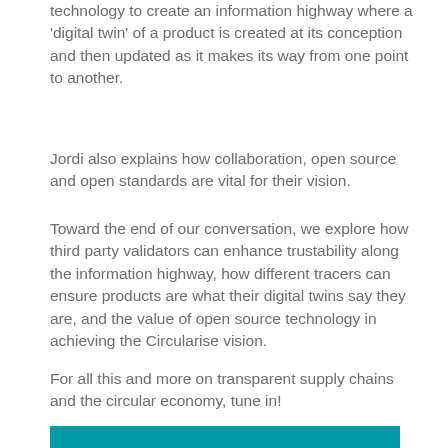technology to create an information highway where a 'digital twin' of a product is created at its conception and then updated as it makes its way from one point to another.
Jordi also explains how collaboration, open source and open standards are vital for their vision.
Toward the end of our conversation, we explore how third party validators can enhance trustability along the information highway, how different tracers can ensure products are what their digital twins say they are, and the value of open source technology in achieving the Circularise vision.
For all this and more on transparent supply chains and the circular economy, tune in!